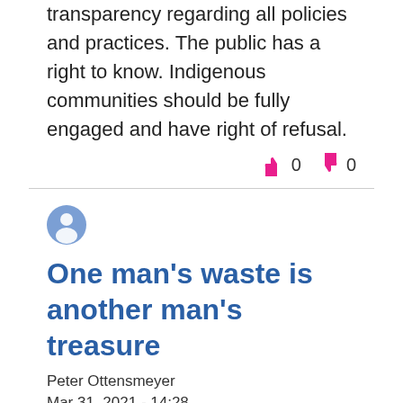transparency regarding all policies and practices. The public has a right to know. Indigenous communities should be fully engaged and have right of refusal.
👍 0  👎 0
[Figure (illustration): Generic user avatar icon, blue-grey circle with a person silhouette]
One man's waste is another man's treasure
Peter Ottensmeyer
Mar 31, 2021 - 14:28